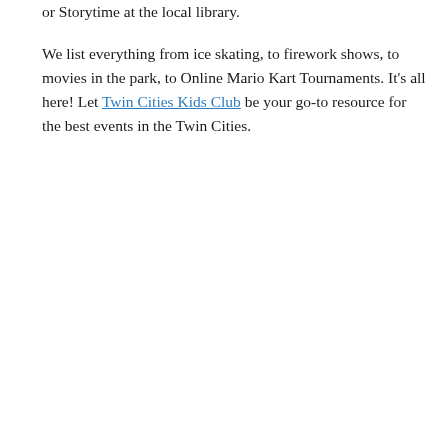or Storytime at the local library. We list everything from ice skating, to firework shows, to movies in the park, to Online Mario Kart Tournaments. It's all here! Let Twin Cities Kids Club be your go-to resource for the best events in the Twin Cities.